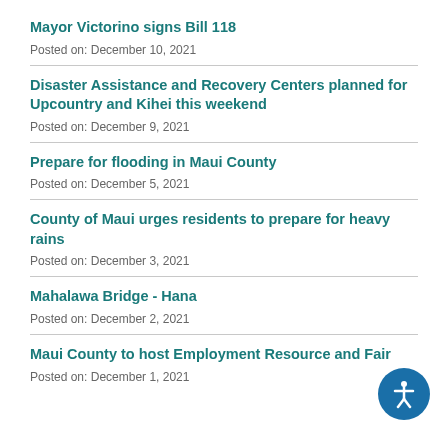Mayor Victorino signs Bill 118
Posted on: December 10, 2021
Disaster Assistance and Recovery Centers planned for Upcountry and Kihei this weekend
Posted on: December 9, 2021
Prepare for flooding in Maui County
Posted on: December 5, 2021
County of Maui urges residents to prepare for heavy rains
Posted on: December 3, 2021
Mahalawa Bridge - Hana
Posted on: December 2, 2021
Maui County to host Employment Resource and Fair
Posted on: December 1, 2021